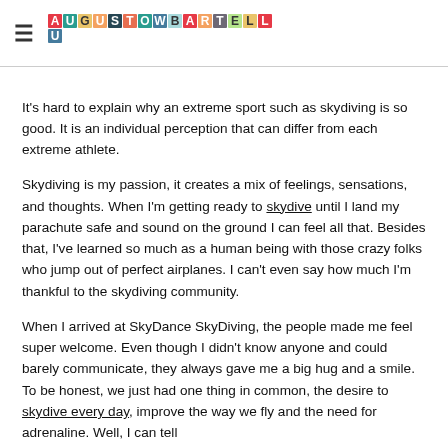AUGUSTOWBARTELLE (logo)
It's hard to explain why an extreme sport such as skydiving is so good. It is an individual perception that can differ from each extreme athlete.
Skydiving is my passion, it creates a mix of feelings, sensations, and thoughts. When I'm getting ready to skydive until I land my parachute safe and sound on the ground I can feel all that. Besides that, I've learned so much as a human being with those crazy folks who jump out of perfect airplanes. I can't even say how much I'm thankful to the skydiving community.
When I arrived at SkyDance SkyDiving, the people made me feel super welcome. Even though I didn't know anyone and could barely communicate, they always gave me a big hug and a smile. To be honest, we just had one thing in common, the desire to skydive every day, improve the way we fly and the need for adrenaline. Well, I can tell